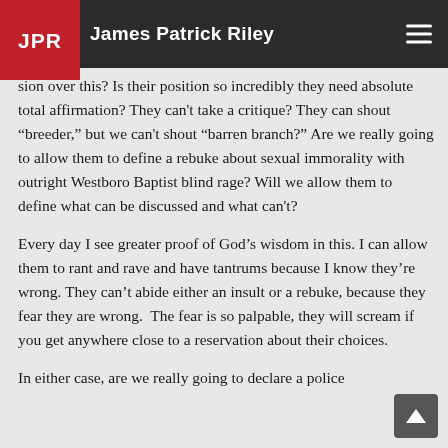James Patrick Riley
sion over this? Is their position so incredibly they need absolute total affirmation? They can't take a critique? They can shout "breeder," but we can't shout "barren branch?" Are we really going to allow them to define a rebuke about sexual immorality with outright Westboro Baptist blind rage? Will we allow them to define what can be discussed and what can't?
Every day I see greater proof of God's wisdom in this. I can allow them to rant and rave and have tantrums because I know they're wrong. They can't abide either an insult or a rebuke, because they fear they are wrong. The fear is so palpable, they will scream if you get anywhere close to a reservation about their choices.
In either case, are we really going to declare a police